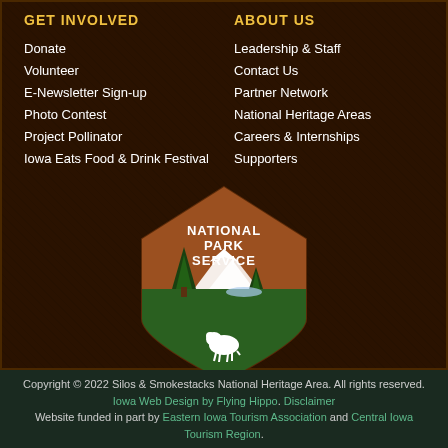GET INVOLVED
Donate
Volunteer
E-Newsletter Sign-up
Photo Contest
Project Pollinator
Iowa Eats Food & Drink Festival
ABOUT US
Leadership & Staff
Contact Us
Partner Network
National Heritage Areas
Careers & Internships
Supporters
[Figure (logo): National Park Service arrowhead logo with bison, trees, mountains, and text NATIONAL PARK SERVICE]
Copyright © 2022 Silos & Smokestacks National Heritage Area. All rights reserved. Iowa Web Design by Flying Hippo. Disclaimer Website funded in part by Eastern Iowa Tourism Association and Central Iowa Tourism Region.